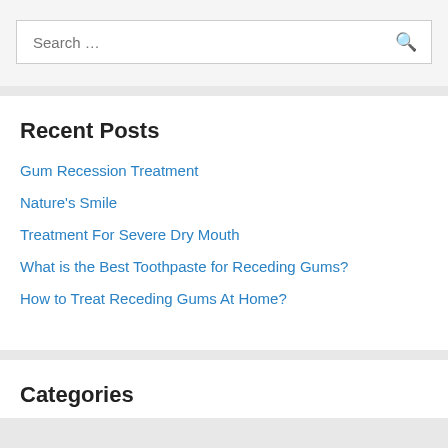Search …
Recent Posts
Gum Recession Treatment
Nature's Smile
Treatment For Severe Dry Mouth
What is the Best Toothpaste for Receding Gums?
How to Treat Receding Gums At Home?
Categories